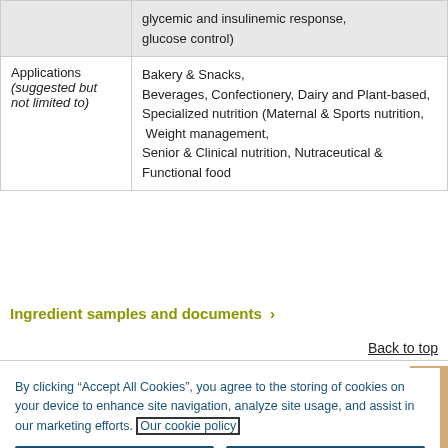|  |  |
| --- | --- |
|  | glycemic and insulinemic response, glucose control) |
| Applications (suggested but not limited to) | Bakery & Snacks, Beverages, Confectionery, Dairy and Plant-based, Specialized nutrition (Maternal & Sports nutrition, Weight management, Senior & Clinical nutrition, Nutraceutical & Functional food |
Ingredient samples and documents >
Back to top
By clicking “Accept All Cookies”, you agree to the storing of cookies on your device to enhance site navigation, analyze site usage, and assist in our marketing efforts. Our cookie policy
Accept All Cookies
Reject All